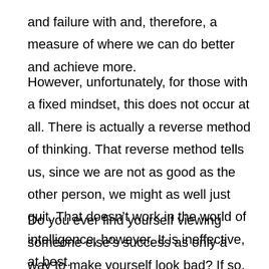and failure with and, therefore, a measure of where we can do better and achieve more.
However, unfortunately, for those with a fixed mindset, this does not occur at all. There is actually a reverse method of thinking. That reverse method tells us, since we are not as good as the other person, we might as well just quit. That doesn't work in the world of intelligence, however. It is ineffective, at best.
Do you ever find yourself viewing someone else's success as only a way to make yourself look bad? If so, you are not alone in this thought process. For some, the success of others equates to highlight their